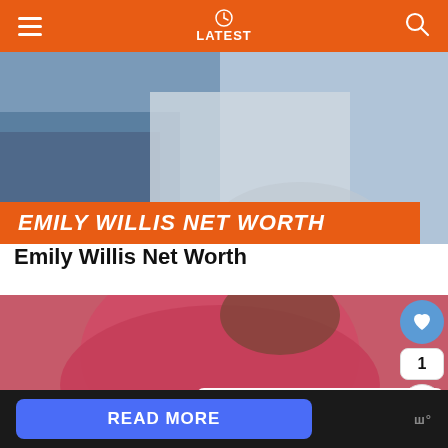LATEST
[Figure (photo): Article header image for Emily Willis Net Worth with orange banner overlay text]
Emily Willis Net Worth
[Figure (photo): Second article image showing a person in a red/pink top, with a heart/share widget and What's Next panel overlay showing FourTee Net Worth article]
WHAT'S NEXT → FourTee Net Worth |...
READ MORE